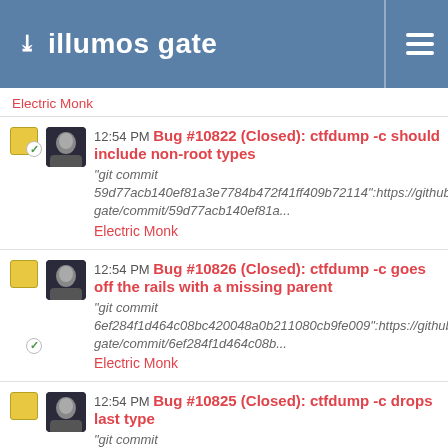illumos gate
Electric Monk
12:54 PM Bug #10822 (Closed): ctfdump -c should include non-root types
"git commit 59d77acb140ef81a3e7784b472f41ff409b72114":https://github.com gate/commit/59d77acb140ef81a...
Electric Monk
12:54 PM Bug #10826 (Closed): ctfdump -c goes off the rails with a missing parent
"git commit 6ef284f1d464c08bc420048a0b211080cb9fe009":https://github.com gate/commit/6ef284f1d464c08b...
Electric Monk
12:54 PM Bug #10825 (Closed): ctfdump -c drops last type
"git commit